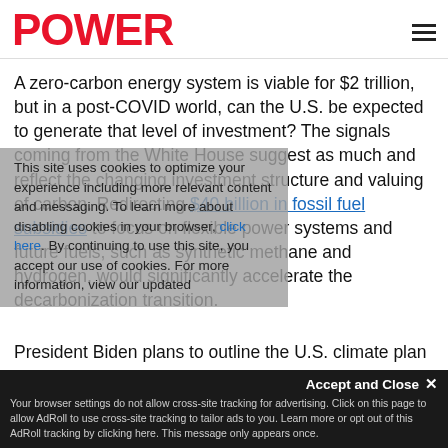[Figure (logo): POWER magazine logo in red bold text]
A zero-carbon energy system is viable for $2 trillion, but in a post-COVID world, can the U.S. be expected to generate that level of investment? The signals coming from the White House suggest as much and reflect the changing investment structure and valuing of carbon. Redirecting $40 billion in fossil fuel subsidies to focus on flexible power systems and future fuels, such as synthetic methane and hydrogen, would significantly accelerate the decarbonization transition.
This site uses cookies to optimize your experience including more relevant content and messaging. To learn more about disabling cookies in your browser, click here. By continuing to use this site, you accept our use of cookies. For more information, view our updated
President Biden plans to outline the U.S. climate plan on the global stage at the COP26 meeting in Glasgow, UK, in November, which his Special Presidential Envoy for Climate John Kerry described as the last
Your browser settings do not allow cross-site tracking for advertising. Click on this page to allow AdRoll to use cross-site tracking to tailor ads to you. Learn more or opt out of this AdRoll tracking by clicking here. This message only appears once.